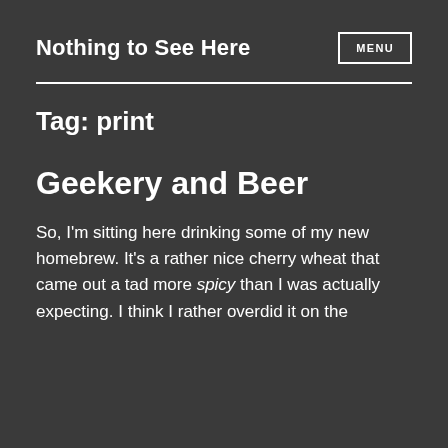Nothing to See Here  MENU
Tag: print
Geekery and Beer
So, I'm sitting here drinking some of my new homebrew. It's a rather nice cherry wheat that came out a tad more spicy than I was actually expecting. I think I rather overdid it on the